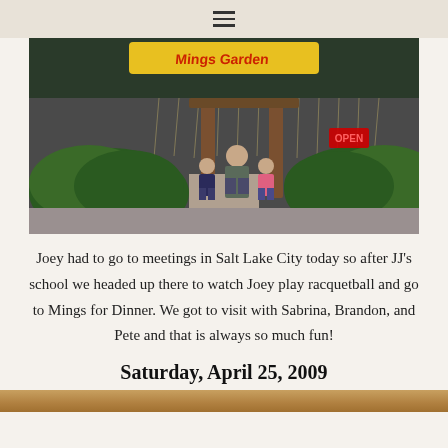≡
[Figure (photo): Photo of a man with two children standing in front of a restaurant entrance with hanging lights and green bushes. A colorful sign reading 'Mings Garden' is visible at the top, and an 'OPEN' neon sign is visible inside.]
Joey had to go to meetings in Salt Lake City today so after JJ's school we headed up there to watch Joey play racquetball and go to Mings for Dinner. We got to visit with Sabrina, Brandon, and Pete and that is always so much fun!
Saturday, April 25, 2009
[Figure (photo): Partial photo visible at bottom of page, appears to show an outdoor scene with warm tones.]